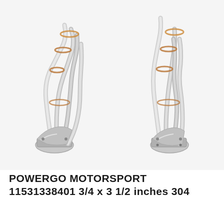[Figure (photo): A pair of polished stainless steel exhaust headers (left and right side) shown on a white background. The headers feature multiple curved tubes merging into a collector, with gold/bronze colored weld seams visible at the tube bends.]
POWERGO MOTORSPORT 11531338401 3/4 x 3 1/2 inches 304